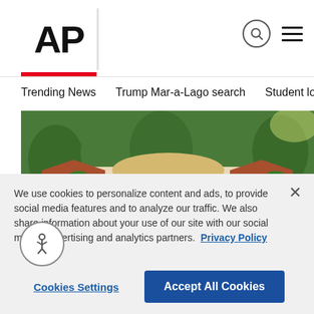AP
Trending News
Trump Mar-a-Lago search
Student loans
U.S.
[Figure (photo): Aerial view of Mar-a-Lago estate in Palm Beach, Florida, showing the main building with arched colonnades, red tile roofs, palm trees, and a pool area.]
We use cookies to personalize content and ads, to provide social media features and to analyze our traffic. We also share information about your use of our site with our social media, advertising and analytics partners. Privacy Policy
Cookies Settings
Accept All Cookies